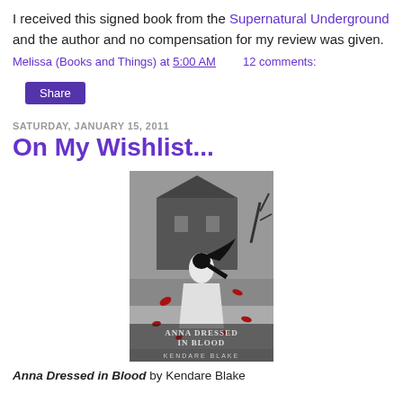I received this signed book from the Supernatural Underground and the author and no compensation for my review was given.
Melissa (Books and Things) at 5:00 AM    12 comments:
Share
SATURDAY, JANUARY 15, 2011
On My Wishlist...
[Figure (photo): Book cover of 'Anna Dressed in Blood' by Kendare Blake — grayscale image of a girl with long black hair in a white dress standing before a dark Victorian house, with red petals/blood splatter around her. Title text reads 'ANNA DRESSED IN BLOOD' and author name 'KENDARE BLAKE' at the bottom.]
Anna Dressed in Blood by Kendare Blake